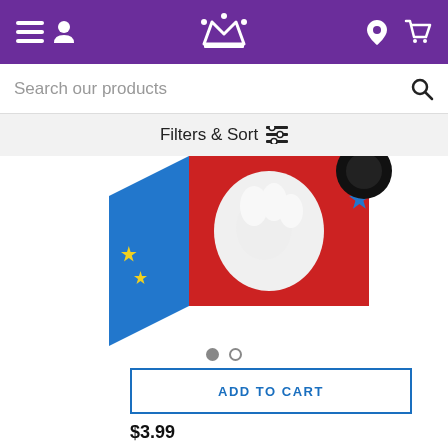Navigation bar with menu, account, logo, location, and cart icons
Search our products
Filters & Sort
[Figure (photo): Mickey Mouse on Red Large Gift Box product image showing colorful blue and red box with Mickey Mouse motif]
ADD TO CART
$3.99
13" Disney Mickey Mouse on Red Large Gift Bag
(9)